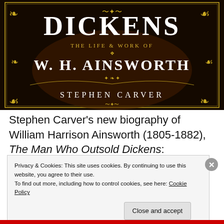[Figure (illustration): Book cover for 'The Man Who Outsold Dickens: The Life & Work of W. H. Ainsworth' by Stephen Carver. Dark brown/black background with gold ornamental borders and decorative flourishes. Title 'DICKENS' in large white serif font at top, subtitle 'The Life & Work of W. H. Ainsworth' below, author name 'STEPHEN CARVER' at bottom.]
Stephen Carver's new biography of William Harrison Ainsworth (1805-1882), The Man Who Outsold Dickens:
Privacy & Cookies: This site uses cookies. By continuing to use this website, you agree to their use.
To find out more, including how to control cookies, see here: Cookie Policy
Close and accept